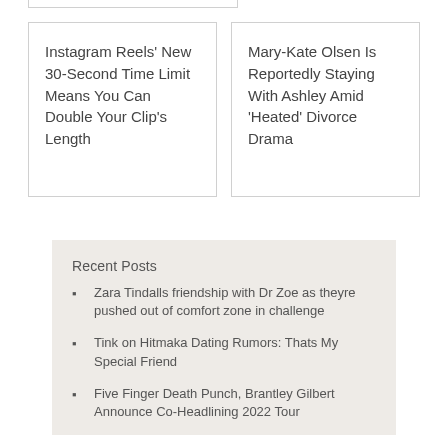Instagram Reels’ New 30-Second Time Limit Means You Can Double Your Clip’s Length
Mary-Kate Olsen Is Reportedly Staying With Ashley Amid ‘Heated’ Divorce Drama
Recent Posts
Zara Tindalls friendship with Dr Zoe as theyre pushed out of comfort zone in challenge
Tink on Hitmaka Dating Rumors: Thats My Special Friend
Five Finger Death Punch, Brantley Gilbert Announce Co-Headlining 2022 Tour